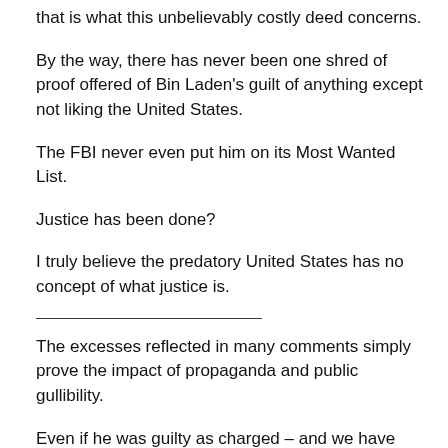that is what this unbelievably costly deed concerns.
By the way, there has never been one shred of proof offered of Bin Laden's guilt of anything except not liking the United States.
The FBI never even put him on its Most Wanted List.
Justice has been done?
I truly believe the predatory United States has no concept of what justice is.
The excesses reflected in many comments simply prove the impact of propaganda and public gullibility.
Even if he was guilty as charged – and we have never,